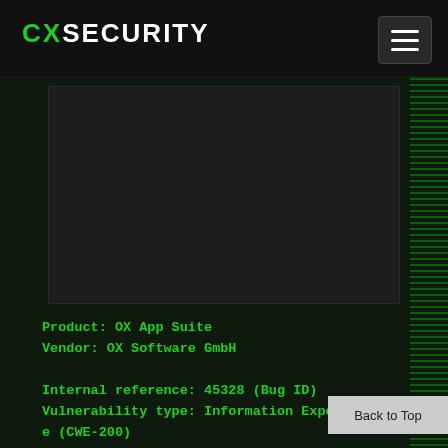CXSECURITY
[Figure (screenshot): Dark grey content/ad placeholder box in the center of the page]
Product: OX App Suite
Vendor: OX Software GmbH

Internal reference: 45328 (Bug ID)
Vulnerability type: Information Exposure (CWE-200)
Vulnerable version: 7.8.1 and earlier